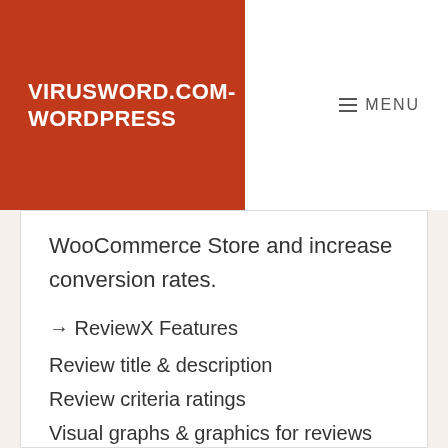VIRUSWORD.COM-WORDPRESS
MENU
WooCommerce Store and increase conversion rates.
→ ReviewX Features
Review title & description
Review criteria ratings
Visual graphs & graphics for reviews
Easily toggle features you want
Upload photos to reviews